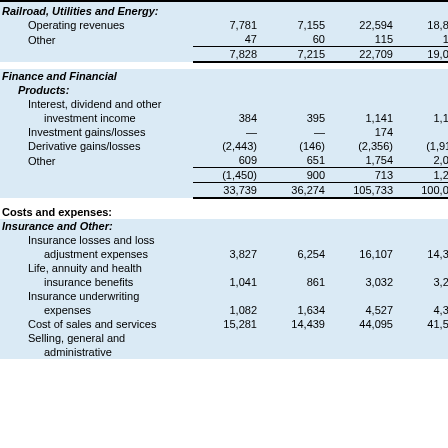Railroad, Utilities and Energy:
|  |  |  |  |  |
| --- | --- | --- | --- | --- |
| Operating revenues | 7,781 | 7,155 | 22,594 | 18,889 |
| Other | 47 | 60 | 115 | 142 |
|  | 7,828 | 7,215 | 22,709 | 19,031 |
Finance and Financial Products:
|  |  |  |  |  |
| --- | --- | --- | --- | --- |
| Interest, dividend and other investment income | 384 | 395 | 1,141 | 1,197 |
| Investment gains/losses | — | — | 174 | 5 |
| Derivative gains/losses | (2,443) | (146) | (2,356) | (1,911) |
| Other | 609 | 651 | 1,754 | 2,003 |
|  | (1,450) | 900 | 713 | 1,294 |
|  | 33,739 | 36,274 | 105,733 | 100,020 |
Costs and expenses:
Insurance and Other:
|  |  |  |  |  |
| --- | --- | --- | --- | --- |
| Insurance losses and loss adjustment expenses | 3,827 | 6,254 | 16,107 | 14,357 |
| Life, annuity and health insurance benefits | 1,041 | 861 | 3,032 | 3,240 |
| Insurance underwriting expenses | 1,082 | 1,634 | 4,527 | 4,381 |
| Cost of sales and services | 15,281 | 14,439 | 44,095 | 41,537 |
| Selling, general and administrative |  |  |  |  |